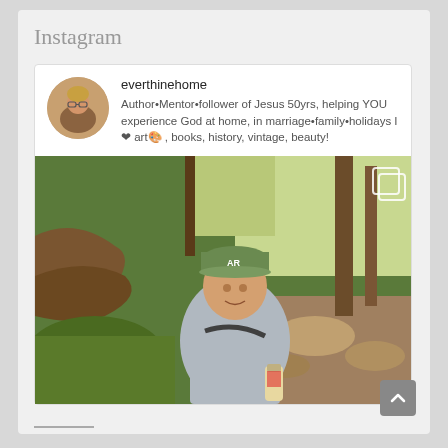Instagram
[Figure (screenshot): Instagram profile card for user 'everthinehome' showing profile avatar (woman with glasses), username, bio text, and a photo of a woman hiking in a forest wearing a green AR cap and grey shirt, holding a water bottle]
everthinehome
Author•Mentor•follower of Jesus 50yrs, helping YOU experience God at home, in marriage•family•holidays I❤ art🎨 , books, history, vintage, beauty!